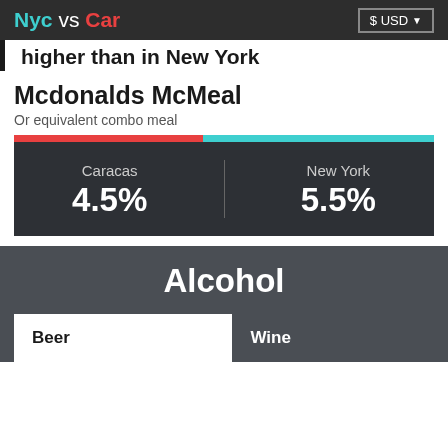Nyc vs Car  $ USD
higher than in New York
Mcdonalds McMeal
Or equivalent combo meal
[Figure (bar-chart): Mcdonalds McMeal comparison]
Alcohol
Beer
Wine